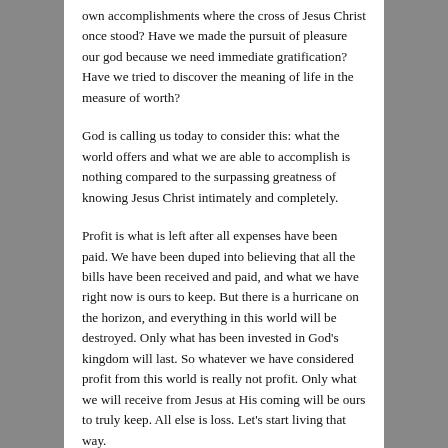own accomplishments where the cross of Jesus Christ once stood? Have we made the pursuit of pleasure our god because we need immediate gratification? Have we tried to discover the meaning of life in the measure of worth?
God is calling us today to consider this: what the world offers and what we are able to accomplish is nothing compared to the surpassing greatness of knowing Jesus Christ intimately and completely.
Profit is what is left after all expenses have been paid. We have been duped into believing that all the bills have been received and paid, and what we have right now is ours to keep. But there is a hurricane on the horizon, and everything in this world will be destroyed. Only what has been invested in God's kingdom will last. So whatever we have considered profit from this world is really not profit. Only what we will receive from Jesus at His coming will be ours to truly keep. All else is loss. Let's start living that way.